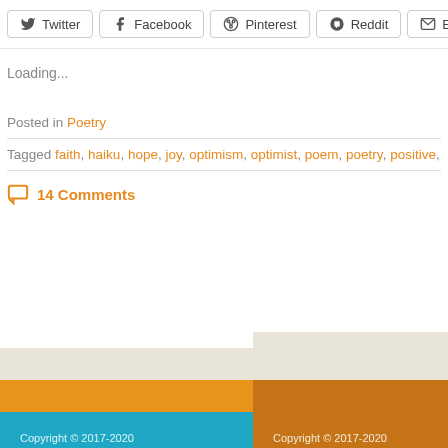[Figure (screenshot): Social share buttons row: Twitter, Facebook, Pinterest, Reddit, Email, and a partially visible additional button]
Loading...
Posted in Poetry
Tagged faith, haiku, hope, joy, optimism, optimist, poem, poetry, positive, posit...
14 Comments
[Figure (other): Footer area with colored bands: beige, orange, and teal/blue stripes split into left and right columns, with copyright text partially visible at bottom]